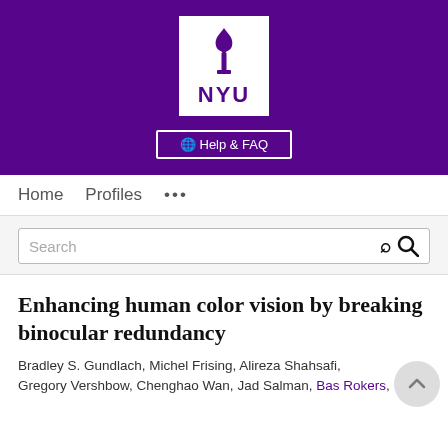[Figure (logo): NYU (New York University) logo: white box with torch icon and NYU text in purple, on a purple banner background, with a Help & FAQ button below]
Home   Profiles   ...
Search
Enhancing human color vision by breaking binocular redundancy
Bradley S. Gundlach, Michel Frising, Alireza Shahsafi, Gregory Vershbow, Chenghao Wan, Jad Salman, Bas Rokers,